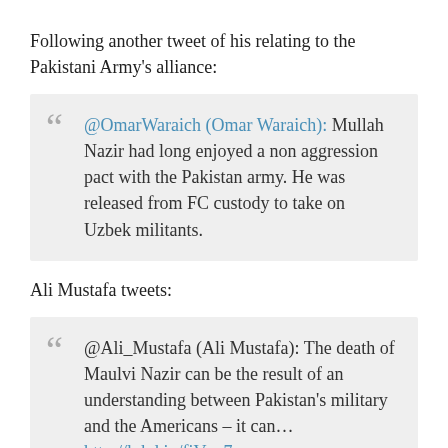Following another tweet of his relating to the Pakistani Army's alliance:
@OmarWaraich (Omar Waraich): Mullah Nazir had long enjoyed a non aggression pact with the Pakistan army. He was released from FC custody to take on Uzbek militants.
Ali Mustafa tweets:
@Ali_Mustafa (Ali Mustafa): The death of Maulvi Nazir can be the result of an understanding between Pakistan's military and the Americans – it can… http://lnkd.in/fiVxz7
On the other hand Asad Munir opines: